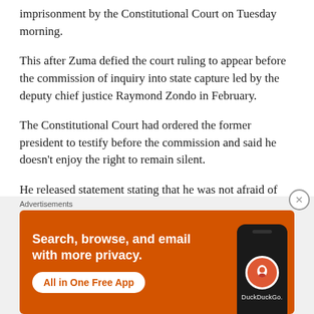imprisonment by the Constitutional Court on Tuesday morning.
This after Zuma defied the court ruling to appear before the commission of inquiry into state capture led by the deputy chief justice Raymond Zondo in February.
The Constitutional Court had ordered the former president to testify before the commission and said he doesn't enjoy the right to remain silent.
He released statement stating that he was not afraid of being arrested, convicted and imprisoned.
He further further stated that he would remain defiant like he did during apartheid and he would not abide by the
[Figure (screenshot): DuckDuckGo advertisement banner with orange background. Text reads: 'Search, browse, and email with more privacy. All in One Free App' with a phone mockup showing the DuckDuckGo logo.]